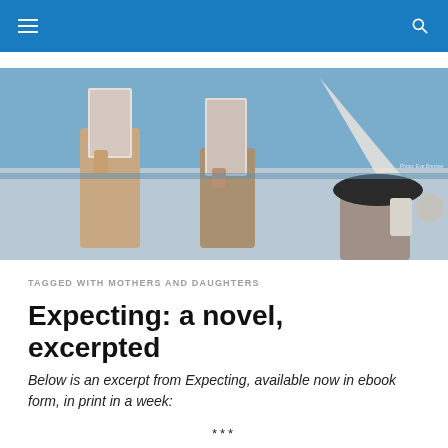Navigation bar with hamburger menu and search icon
[Figure (photo): Two people on a boat holding up copies of a book, with another person in a hat visible in the background. Sunny outdoor setting near water.]
TAGGED WITH MOTHERS AND DAUGHTERS
Expecting: a novel, excerpted
Below is an excerpt from Expecting, available now in ebook form, in print in a week:
***